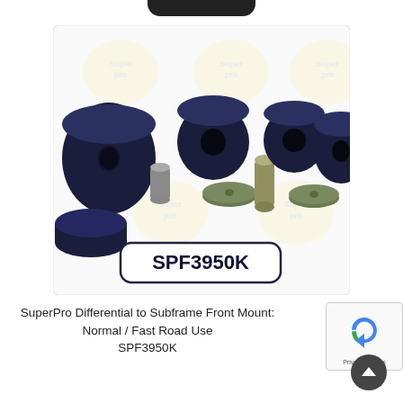[Figure (photo): Product photo of SuperPro SPF3950K Differential to Subframe Front Mount bushings set. Shows multiple dark navy blue polyurethane bushings of various sizes, along with metal sleeves and washers, arranged on a white background with repeating SuperPro watermark logo.]
SuperPro Differential to Subframe Front Mount: Normal / Fast Road Use SPF3950K